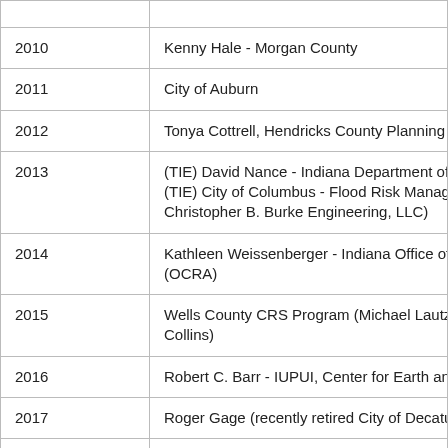| Year | Recipient |
| --- | --- |
| 2010 | Kenny Hale - Morgan County |
| 2011 | City of Auburn |
| 2012 | Tonya Cottrell, Hendricks County Planning and Bu[ilding] |
| 2013 | (TIE) David Nance - Indiana Department of Natura[l Resources]
(TIE) City of Columbus - Flood Risk Management [assisted by]
Christopher B. Burke Engineering, LLC) |
| 2014 | Kathleen Weissenberger - Indiana Office of Comm[unity and Rural Affairs]
(OCRA) |
| 2015 | Wells County CRS Program (Michael Lautzenheis[mer and Jeff]
Collins) |
| 2016 | Robert C. Barr - IUPUI, Center for Earth and Enviro[nmental Science] |
| 2017 | Roger Gage (recently retired City of Decatur) |